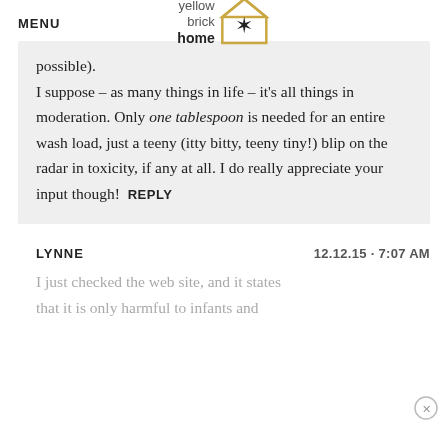MENU | yellow brick home
possible).
I suppose – as many things in life – it's all things in moderation. Only one tablespoon is needed for an entire wash load, just a teeny (itty bitty, teeny tiny!) blip on the radar in toxicity, if any at all. I do really appreciate your input though! REPLY
LYNNE   12.12.15 · 7:07 AM
I just checked the web site, and it states that it is only harmful to infants and